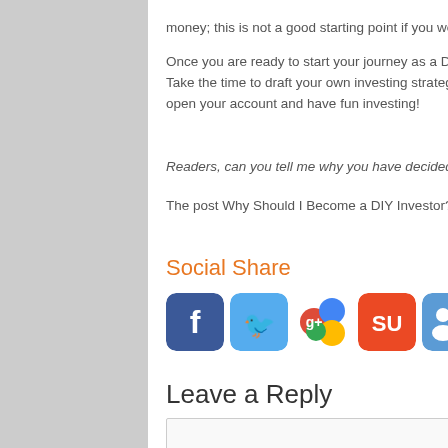money; this is not a good starting point if you wonder if you are good...
Once you are ready to start your journey as a DIY investor, I think the... Take the time to draft your own investing strategy, know why you inve... open your account and have fun investing!
Readers, can you tell me why you have decided to become a DIY Inv...
The post Why Should I Become a DIY Investor? appeared first on Th...
Social Share
[Figure (other): Row of social media share buttons: Facebook, Twitter, Google+, StumbleUpon, a group/network icon, a checkerboard-style icon, a people/hierarchy icon, and Reddit]
Leave a Reply